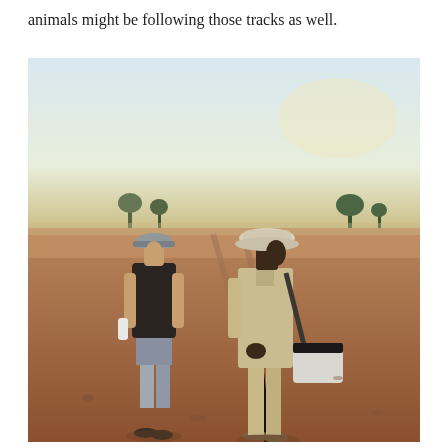animals might be following those tracks as well.
[Figure (photo): Two people standing in a dry, arid open landscape. On the left, a lighter-skinned man wearing a dark t-shirt, grey shorts, a grey baseball cap, and sneakers holds a white water bottle. On the right, a darker-skinned man wearing a light khaki shirt, khaki trousers, a white bucket hat, and carrying a white and black messenger bag leans on a long dark walking stick or staff. The background shows flat dry reddish-brown earth with sparse trees and a hazy sky consistent with an African savanna setting.]